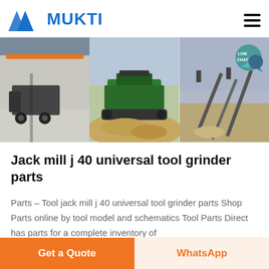[Figure (logo): Mukti company logo with blue triangular M shapes and blue bold text MUKTI]
[Figure (photo): Banner with three industrial machinery/crusher images side by side, and a teal Live Chat badge in top right corner]
Jack mill j 40 universal tool grinder parts
Parts – Tool jack mill j 40 universal tool grinder parts Shop Parts online by tool model and schematics Tool Parts Direct has parts for a complete inventory of